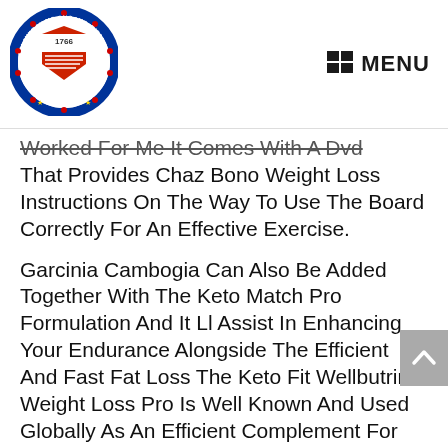[Figure (logo): Circular seal/logo of Rizal province Philippines, with text 'LALAWIGAN NG ONGONO RIZAL' around the border and 'SAGISAG' at the bottom, dated 1766, featuring a shield with red and white design, blue border with stars]
MENU
Worked For Me It Comes With A Dvd That Provides Chaz Bono Weight Loss Instructions On The Way To Use The Board Correctly For An Effective Exercise.
Garcinia Cambogia Can Also Be Added Together With The Keto Match Pro Formulation And It Ll Assist In Enhancing Your Endurance Alongside The Efficient And Fast Fat Loss The Keto Fit Wellbutrin Weight Loss Pro Is Well Known And Used Globally As An Efficient Complement For Weight Reduction However, There Are Numerous Side Effects Of Following A